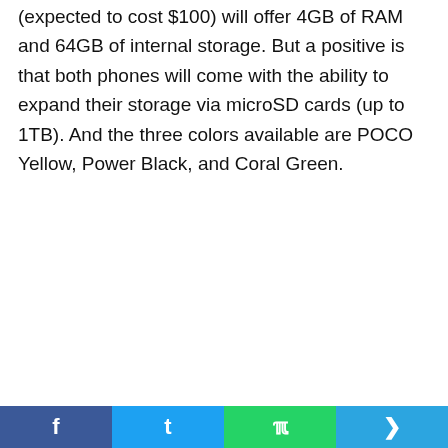(expected to cost $100) will offer 4GB of RAM and 64GB of internal storage. But a positive is that both phones will come with the ability to expand their storage via microSD cards (up to 1TB). And the three colors available are POCO Yellow, Power Black, and Coral Green.
Facebook | Twitter | WhatsApp | Telegram